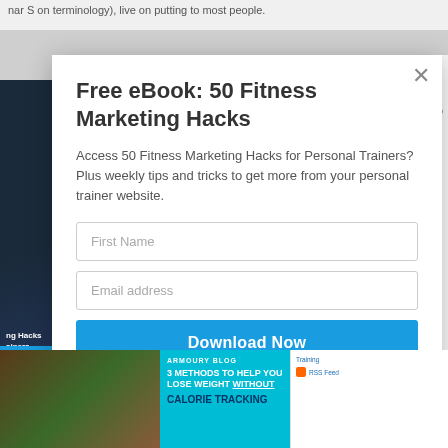nar S on terminology), live on putting to most people.
[Figure (screenshot): Modal popup overlay for a fitness marketing ebook signup form on a website. Contains a book cover image on the left, a close button (×), title 'Free eBook: 50 Fitness Marketing Hacks', body text, First Name and Email address input fields, and a 'Download Now' button. Below the modal is a partial website footer showing a food image and a blog card about losing weight without calorie tracking.]
Free eBook: 50 Fitness Marketing Hacks
Access 50 Fitness Marketing Hacks for Personal Trainers? Plus weekly tips and tricks to get more from your personal trainer website.
First Name
Email address
Download Now
ARMOURY BLOG — 3 METHODS TO HELP YOU LOSE WEIGHT WITHOUT CALORIE TRACKING